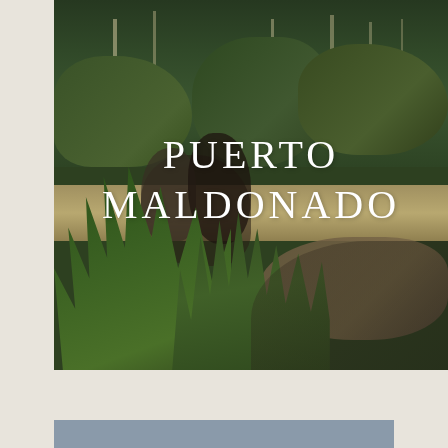[Figure (photo): Two people birdwatching with binoculars near a river in a jungle/forest setting near Puerto Maldonado, Peru. Dense tropical vegetation, palm fronds in foreground, a large animal (possibly a giant river otter or capybara) visible at lower right. The text 'PUERTO MALDONADO' is overlaid in white serif lettering across the center of the photo.]
PUERTO MALDONADO